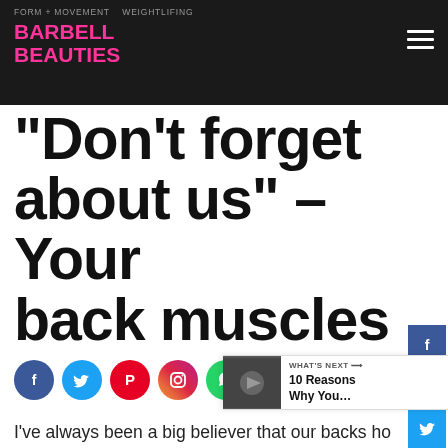FORM + MOVEMENT   WEIGHTLIFING
[Figure (logo): Barbell Beauties logo in pink bold text on dark background with hamburger menu icon]
“Don’t forget about us” – Your back muscles
[Figure (infographic): Row of social media sharing icons: Facebook (blue circle), Twitter (light blue circle), Pinterest (red circle), Instagram (gradient circle), WhatsApp (green circle), Share (orange circle)]
I’ve always been a big believer that our backs ho the key to athletic performance. Without strength and power derived from the lower body are
the top predictors of health and longevity, but the back is a critical part of our posterior chain. It